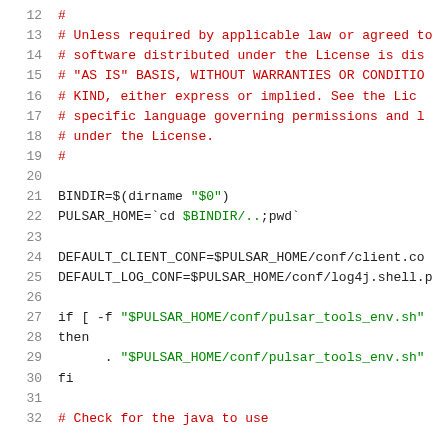Source code listing, lines 12–32, shell script with Apache license header and Pulsar startup logic